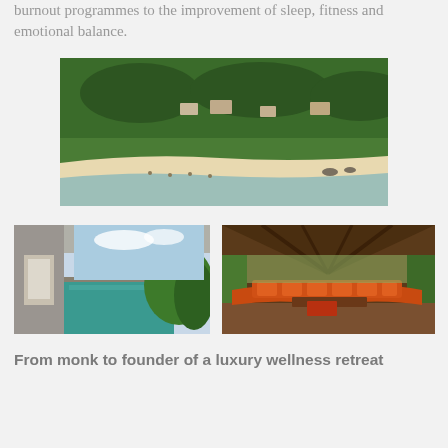burnout programmes to the improvement of sleep, fitness and emotional balance.
[Figure (photo): Aerial view of a tropical resort nestled into a densely forested hillside with a sandy beach and calm turquoise water in the foreground]
[Figure (photo): A private infinity pool on a terrace overlooking lush tropical greenery and the sea]
[Figure (photo): An open-air pavilion lounge area with large orange cushioned sofas and a wooden ceiling surrounded by tropical garden]
From monk to founder of a luxury wellness retreat